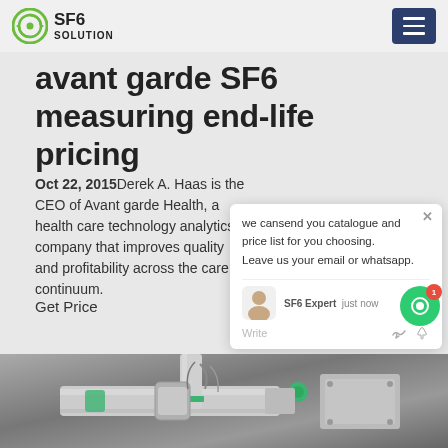SF6 SOLUTION
avant garde SF6 measuring end-life pricing
Oct 22, 2015Derek A. Haas is the CEO of Avant garde Health, a health care technology analytics company that improves quality and profitability across the care continuum.
Get Price
we cansend you catalogue and price list for you choosing. Leave us your email or whatsapp.
SF6 Expert   just now
Write
[Figure (photo): Close-up photo of SF6 gas equipment pipes and fittings with green markings and cables attached]